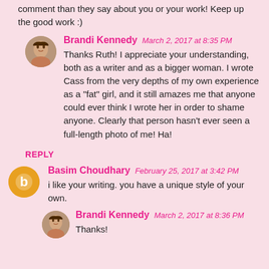comment than they say about you or your work! Keep up the good work :)
Brandi Kennedy  March 2, 2017 at 8:35 PM
Thanks Ruth! I appreciate your understanding, both as a writer and as a bigger woman. I wrote Cass from the very depths of my own experience as a "fat" girl, and it still amazes me that anyone could ever think I wrote her in order to shame anyone. Clearly that person hasn't ever seen a full-length photo of me! Ha!
REPLY
Basim Choudhary  February 25, 2017 at 3:42 PM
i like your writing. you have a unique style of your own.
Brandi Kennedy  March 2, 2017 at 8:36 PM
Thanks!